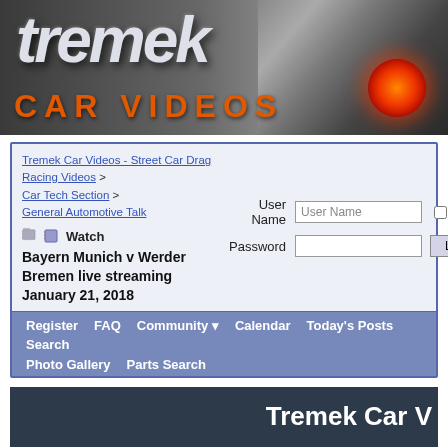[Figure (illustration): Tremek Car Videos website banner with metallic 3D logo text 'tremek' in silver/grey italic, 'CAR VIDEOS' in orange bold text below, and a dark car image with red tail light on the right side]
Tremek Car Videos - Street Car Drag Racing Videos > Car Tech Section > General Automotive Talk
Watch Bayern Munich v Werder Bremen live streaming January 21, 2018
User Name  Password  Remember Me?  Log in
Register
FAQ
Community
Calendar
Today's Posts
Search
Photo Gallery
Parts Search
Tremek Car V
Custom Wheels